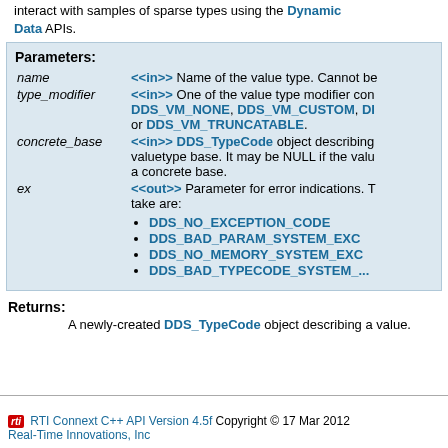interact with samples of sparse types using the Dynamic Data APIs.
Parameters:
name  <<in>> Name of the value type. Cannot be...
type_modifier  <<in>> One of the value type modifier con... DDS_VM_NONE, DDS_VM_CUSTOM, DI... or DDS_VM_TRUNCATABLE.
concrete_base  <<in>> DDS_TypeCode object describing... valuetype base. It may be NULL if the valu... a concrete base.
ex  <<out>> Parameter for error indications. T... take are:
DDS_NO_EXCEPTION_CODE
DDS_BAD_PARAM_SYSTEM_EXC
DDS_NO_MEMORY_SYSTEM_EXC
DDS_BAD_TYPECODE_SYSTEM_...
Returns:
A newly-created DDS_TypeCode object describing a value.
RTI Connext C++ API Version 4.5f Copyright © 17 Mar 2012 Real-Time Innovations, Inc